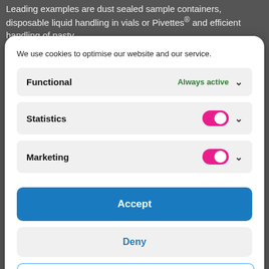Leading examples are dust sealed sample containers, disposable liquid handling in vials or Pivettes® and efficient handling of pasty
We use cookies to optimise our website and our service.
Functional — Always active
Statistics
Marketing
Accept
Deny
Save preferences
Cookie Policy   Privacy Policy